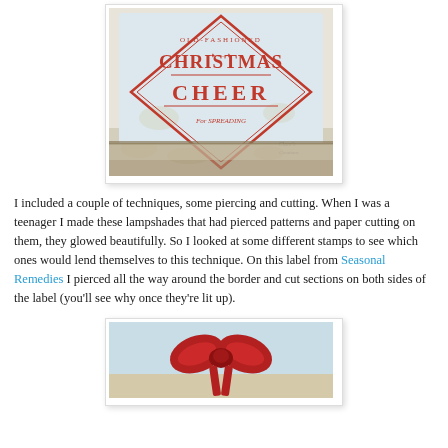[Figure (photo): A vintage-style Christmas card/tag with red decorative label text reading 'Old-Fashioned Christmas Cheer For Spreading' inside a diamond-shaped ornate border, on a white background with aged texture. Watermark reads 'Clare's Creations' in bottom right corner.]
I included a couple of techniques, some piercing and cutting. When I was a teenager I made these lampshades that had pierced patterns and paper cutting on them, they glowed beautifully. So I looked at some different stamps to see which ones would lend themselves to this technique. On this label from Seasonal Remedies I pierced all the way around the border and cut sections on both sides of the label (you'll see why once they're lit up).
[Figure (photo): Close-up photo of a red ribbon bow on a light blue/cream background, partially visible at the bottom of the page.]